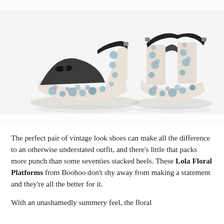[Figure (photo): Two views of floral platform wedge sandals with black straps and ankle buckles on a white background. Left shoe shown from the side/front, right shoe shown from the back. The shoes feature a floral print pattern in blue, purple and white on the platform and wedge heel.]
The perfect pair of vintage look shoes can make all the difference to an otherwise understated outfit, and there's little that packs more punch than some seventies stacked heels. These Lola Floral Platforms from Boohoo don't shy away from making a statement and they're all the better for it.
With an unashamedly summery feel, the floral